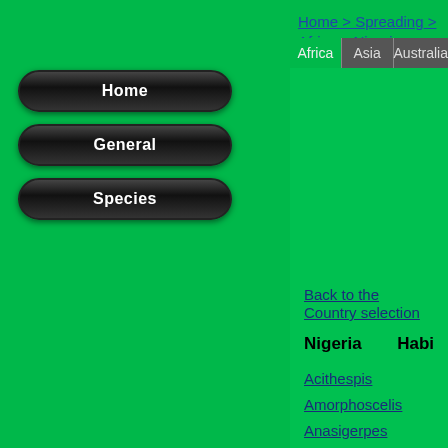Home > Spreading > Africa > Nigeria
Home
General
Species
Africa | Asia | Australia
Back to the Country selection
Nigeria    Habi
Acithespis
Amorphoscelis
Anasigerpes